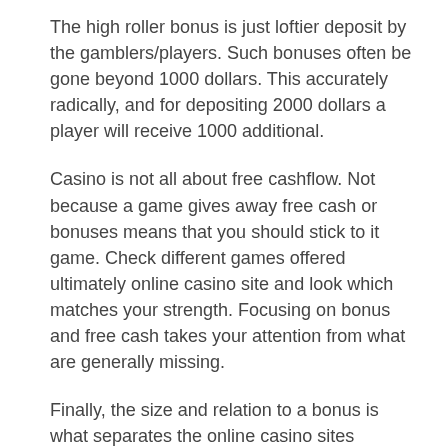The high roller bonus is just loftier deposit by the gamblers/players. Such bonuses often be gone beyond 1000 dollars. This accurately radically, and for depositing 2000 dollars a player will receive 1000 additional.
Casino is not all about free cashflow. Not because a game gives away free cash or bonuses means that you should stick to it game. Check different games offered ultimately online casino site and look which matches your strength. Focusing on bonus and free cash takes your attention from what are generally missing.
Finally, the size and relation to a bonus is what separates the online casino sites worldwide from chats. Some will offer a touch up front free and after that a first match added bonus. These casinos are certainly worth viewing as you're able to look in the software and a feel for things, plus there may appear far more money shared.